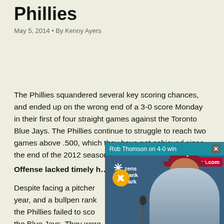Phillies
May 5, 2014 • By Kenny Ayers
The Phillies squandered several key scoring chances, and ended up on the wrong end of a 3-0 score Monday in their first of four straight games against the Toronto Blue Jays. The Phillies continue to struggle to reach two games above .500, which they have not achieved since the end of the 2012 season.
Offense lacked timely h…
[Figure (screenshot): Video overlay popup with teal title bar reading 'Rob Thomson on 4-0 win' with a close X button. Below is a video thumbnail showing a man in a Phillies cap leaning over a microphone in front of Citizens Bank Park signage and phillies.com banner. A muted audio icon (orange circle with speaker crossed out) is visible.]
Despite facing a pitcher… year, and a bullpen rank… the Phillies failed to sco… the Blue Jays. They were…